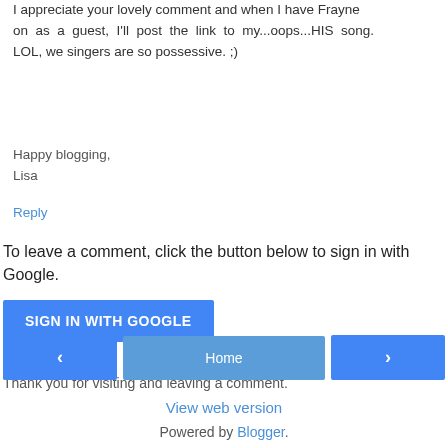I appreciate your lovely comment and when I have Frayne on as a guest, I'll post the link to my...oops...HIS song. LOL, we singers are so possessive. ;)
Happy blogging,
Lisa
Reply
To leave a comment, click the button below to sign in with Google.
SIGN IN WITH GOOGLE
Thank you for visiting and leaving a comment.
‹
Home
›
View web version
Powered by Blogger.